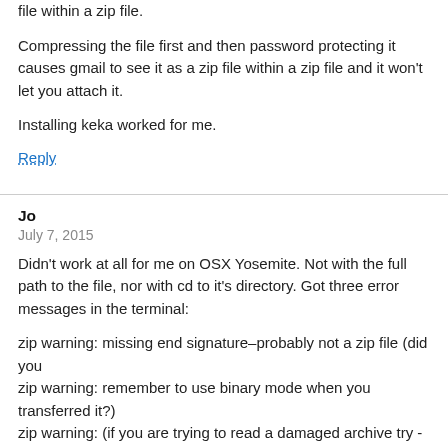file within a zip file.
Compressing the file first and then password protecting it causes gmail to see it as a zip file within a zip file and it won't let you attach it.
Installing keka worked for me.
Reply
Jo
July 7, 2015
Didn't work at all for me on OSX Yosemite. Not with the full path to the file, nor with cd to it's directory. Got three error messages in the terminal:
zip warning: missing end signature–probably not a zip file (did you
zip warning: remember to use binary mode when you transferred it?)
zip warning: (if you are trying to read a damaged archive try -F)
Reply
Jo